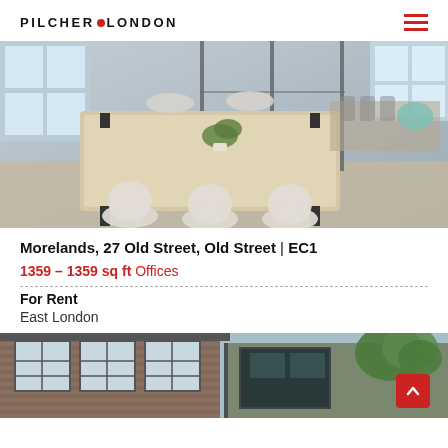PILCHER LONDON
[Figure (photo): Interior photo of a modern office space with a large light wood conference table, white upholstered chairs, glass partition walls, and parquet flooring]
Morelands, 27 Old Street, Old Street | EC1
1359 – 1359 sq ft Offices
For Rent
East London
[Figure (photo): Exterior photo of a brick industrial-style building with large factory windows]